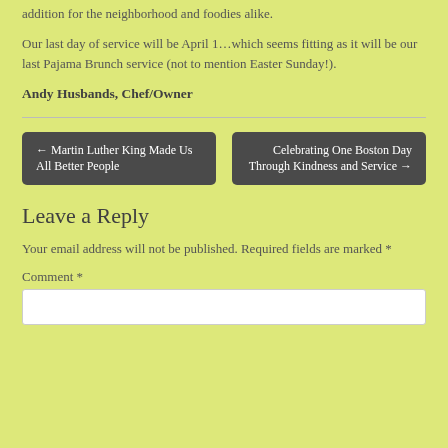addition for the neighborhood and foodies alike.
Our last day of service will be April 1…which seems fitting as it will be our last Pajama Brunch service (not to mention Easter Sunday!).
Andy Husbands, Chef/Owner
← Martin Luther King Made Us All Better People
Celebrating One Boston Day Through Kindness and Service →
Leave a Reply
Your email address will not be published. Required fields are marked *
Comment *